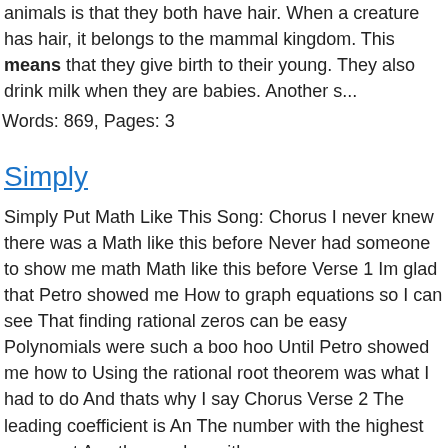animals is that they both have hair. When a creature has hair, it belongs to the mammal kingdom. This means that they give birth to their young. They also drink milk when they are babies. Another s...
Words: 869, Pages: 3
Simply
Simply Put Math Like This Song: Chorus I never knew there was a Math like this before Never had someone to show me math Math like this before Verse 1 Im glad that Petro showed me How to graph equations so I can see That finding rational zeros can be easy Polynomials were such a boo hoo Until Petro showed me how to Using the rational root theorem was what I had to do And thats why I say Chorus Verse 2 The leading coefficient is An The number with the highest exponent Aos the number with ...